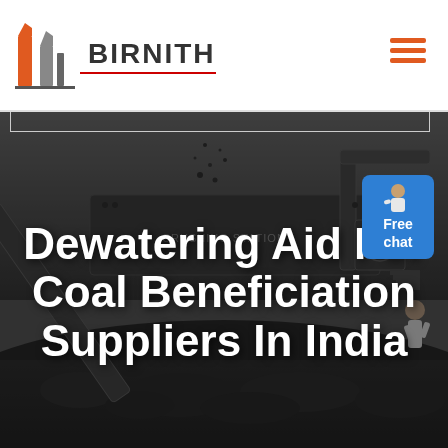[Figure (logo): Birnith brand logo with orange and grey building/construction icon and bold text BIRNITH with red underline]
[Figure (photo): Industrial coal crushing station machinery with conveyor belt and coal pile in dark greyscale background]
Dewatering Aid For Coal Beneficiation Suppliers In India
[Figure (other): Blue Free chat button badge with person avatar on top right]